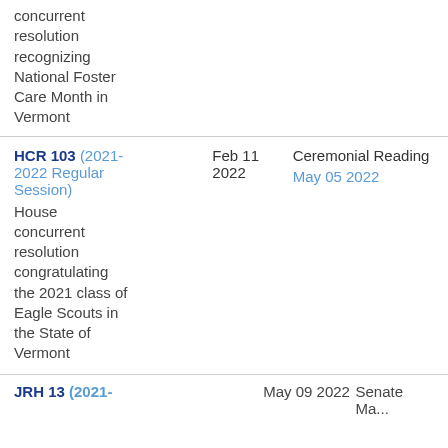concurrent resolution recognizing National Foster Care Month in Vermont
| Bill | Date | Action |
| --- | --- | --- |
| HCR 103 (2021-2022 Regular Session)
House concurrent resolution congratulating the 2021 class of Eagle Scouts in the State of Vermont | Feb 11 2022 | Ceremonial Reading
May 05 2022 |
JRH 13 (2021-    May 09 2022    Senate Ma...